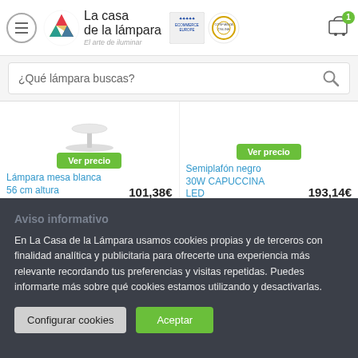[Figure (screenshot): La Casa de la Lámpara website header with logo, ecommerce badges, and shopping cart with 1 item]
¿Qué lámpara buscas?
[Figure (photo): White desk lamp product image (partial, top cut off)]
Lámpara mesa blanca 56 cm altura CAPUCCINA LED  101,38€
Semiplafón negro 30W CAPUCCINA LED  193,14€
Aviso informativo
En La Casa de la Lámpara usamos cookies propias y de terceros con finalidad analítica y publicitaria para ofrecerte una experiencia más relevante recordando tus preferencias y visitas repetidas. Puedes informarte más sobre qué cookies estamos utilizando y desactivarlas.
Configurar cookies
Aceptar